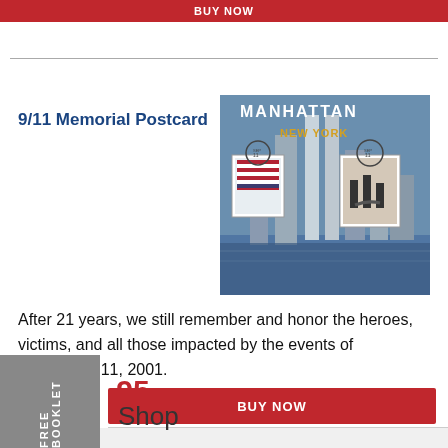BUY NOW
9/11 Memorial Postcard
[Figure (photo): Manhattan New York postcard image showing the Twin Towers skyline with postage stamps overlay including an American flag stamp and a firefighters stamp]
After 21 years, we still remember and honor the heroes, victims, and all those impacted by the events of September 11, 2001.
.95
BUY NOW
FREE BOOKLET
Shop